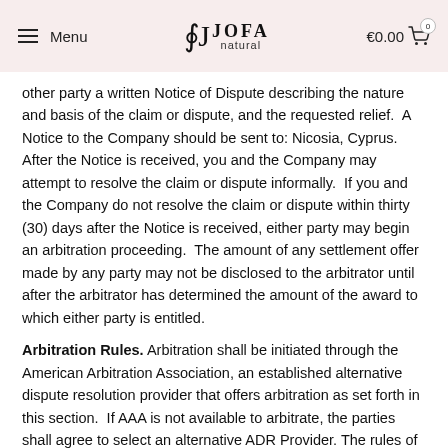Menu | CJ JOFA natural | €0.00 🛒 0
other party a written Notice of Dispute describing the nature and basis of the claim or dispute, and the requested relief.  A Notice to the Company should be sent to: Nicosia, Cyprus. After the Notice is received, you and the Company may attempt to resolve the claim or dispute informally.  If you and the Company do not resolve the claim or dispute within thirty (30) days after the Notice is received, either party may begin an arbitration proceeding.  The amount of any settlement offer made by any party may not be disclosed to the arbitrator until after the arbitrator has determined the amount of the award to which either party is entitled.
Arbitration Rules. Arbitration shall be initiated through the American Arbitration Association, an established alternative dispute resolution provider that offers arbitration as set forth in this section.  If AAA is not available to arbitrate, the parties shall agree to select an alternative ADR Provider. The rules of the AAA